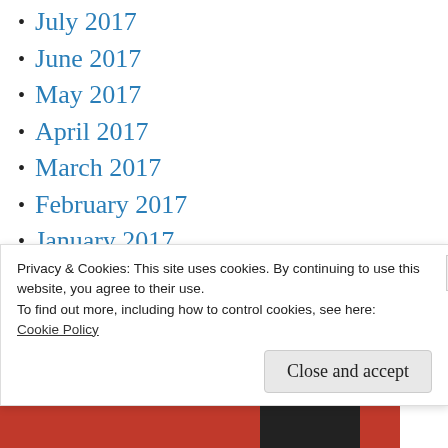July 2017
June 2017
May 2017
April 2017
March 2017
February 2017
January 2017
December 2016
November 2016
October 2016
September 2016
Privacy & Cookies: This site uses cookies. By continuing to use this website, you agree to their use.
To find out more, including how to control cookies, see here:
Cookie Policy
Close and accept